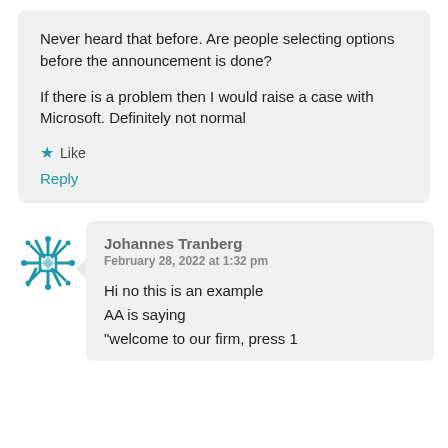Never heard that before. Are people selecting options before the announcement is done?

If there is a problem then I would raise a case with Microsoft. Definitely not normal
Like
Reply
[Figure (logo): Blue decorative snowflake/star avatar icon]
Johannes Tranberg
February 28, 2022 at 1:32 pm
Hi no this is an example AA is saying "welcome to our firm, press 1